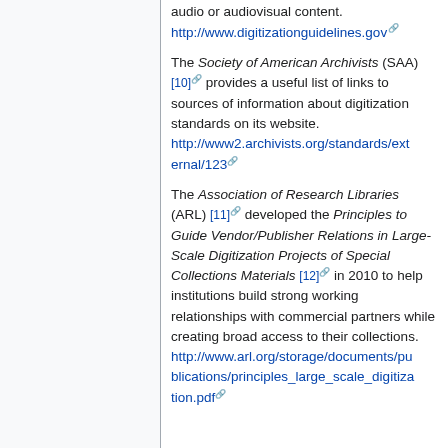audio or audiovisual content. http://www.digitizationguidelines.gov
The Society of American Archivists (SAA) [10] provides a useful list of links to sources of information about digitization standards on its website. http://www2.archivists.org/standards/external/123
The Association of Research Libraries (ARL) [11] developed the Principles to Guide Vendor/Publisher Relations in Large-Scale Digitization Projects of Special Collections Materials [12] in 2010 to help institutions build strong working relationships with commercial partners while creating broad access to their collections. http://www.arl.org/storage/documents/publications/principles_large_scale_digitization.pdf